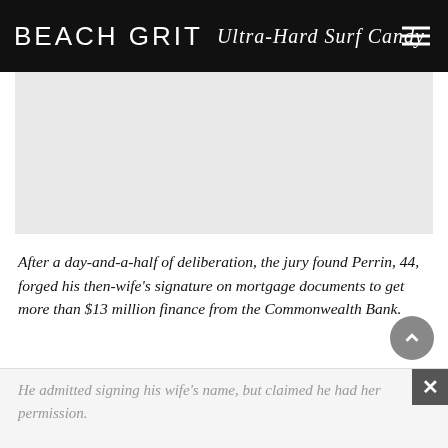BEACH GRIT Ultra-Hard Surf Candy
[Figure (photo): Light grey placeholder image area]
After a day-and-a-half of deliberation, the jury found Perrin, 44, forged his then-wife's signature on mortgage documents to get more than $13 million finance from the Commonwealth Bank.
He admitted signing his wife's name, but claimed he had her permission.